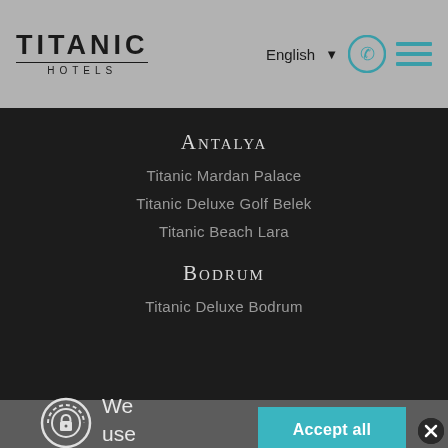[Figure (logo): Titanic Hotels logo with TITANIC text in bold and HOTELS in spaced letters below a horizontal line]
English
Antalya
Titanic Mardan Palace
Titanic Deluxe Golf Belek
Titanic Beach Lara
Bodrum
Titanic Deluxe Bodrum
We use cook to optin your